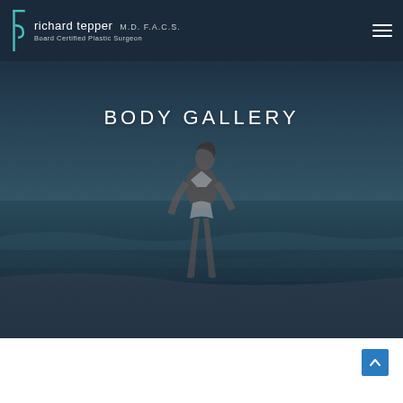richard tepper M.D. F.A.C.S. Board Certified Plastic Surgeon
BODY GALLERY
[Figure (photo): Background photo of a woman in a white bikini walking on a beach with ocean and sky in the background, overlaid with a dark blue-grey tint.]